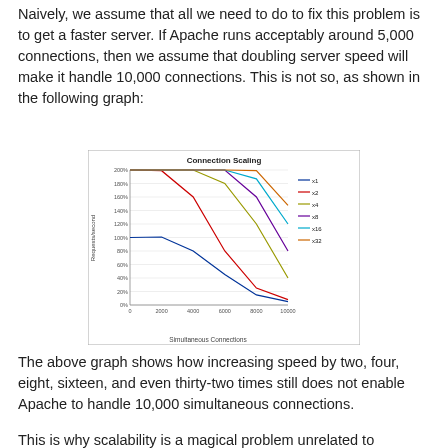Naively, we assume that all we need to do to fix this problem is to get a faster server. If Apache runs acceptably around 5,000 connections, then we assume that doubling server speed will make it handle 10,000 connections. This is not so, as shown in the following graph:
[Figure (line-chart): Connection Scaling]
The above graph shows how increasing speed by two, four, eight, sixteen, and even thirty-two times still does not enable Apache to handle 10,000 simultaneous connections.
This is why scalability is a magical problem unrelated to performance: more performance just doesn't fix it.